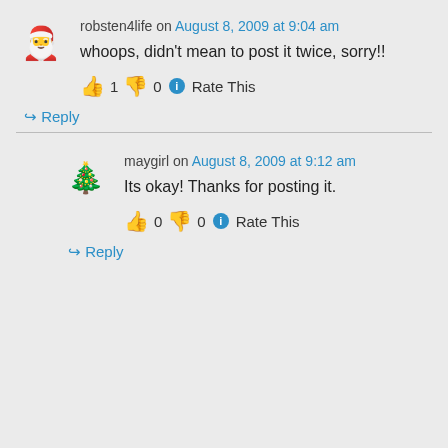robsten4life on August 8, 2009 at 9:04 am
whoops, didn't mean to post it twice, sorry!!
👍 1 👎 0 ℹ Rate This
↪ Reply
maygirl on August 8, 2009 at 9:12 am
Its okay! Thanks for posting it.
👍 0 👎 0 ℹ Rate This
↪ Reply